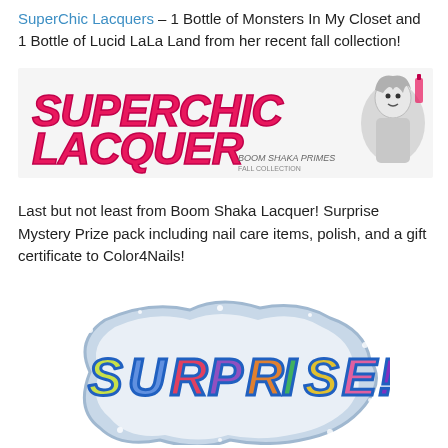SuperChic Lacquers – 1 Bottle of Monsters In My Closet and 1 Bottle of Lucid LaLa Land from her recent fall collection!
[Figure (logo): SuperChic Lacquer banner logo with anime-style girl illustration and Boom Shaka Primes text]
Last but not least from Boom Shaka Lacquer!  Surprise Mystery Prize pack including nail care items, polish, and a gift certificate to Color4Nails!
[Figure (illustration): Colorful graffiti-style text reading SURPRISE! with rainbow letters and sparkle border]